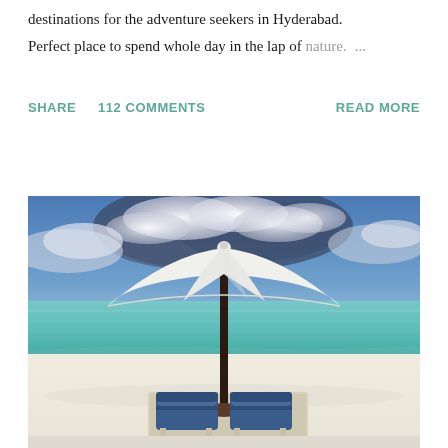destinations for the adventure seekers in Hyderabad.
Perfect place to spend whole day in the lap of nature. ...
SHARE   112 COMMENTS   READ MORE
[Figure (photo): Beach scene with a white umbrella/parasol on white sand, two blue lounge chairs beneath, turquoise ocean water and cloudy blue sky in the background.]